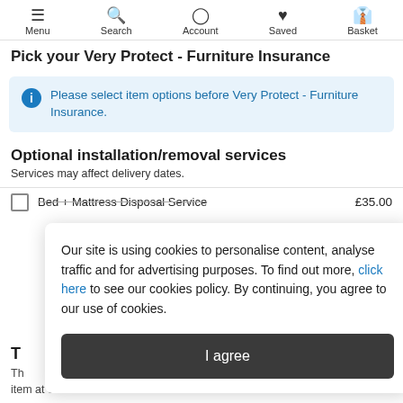Menu  Search  Account  Saved  Basket
Pick your Very Protect - Furniture Insurance
Please select item options before Very Protect - Furniture Insurance.
Optional installation/removal services
Services may affect delivery dates.
Bed + Mattress Disposal Service   £35.00
Our site is using cookies to personalise content, analyse traffic and for advertising purposes. To find out more, click here to see our cookies policy. By continuing, you agree to our use of cookies.
I agree
T
Th
item at checkout